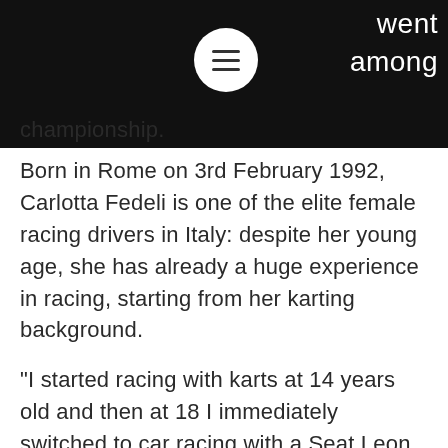went among championship.
Born in Rome on 3rd February 1992, Carlotta Fedeli is one of the elite female racing drivers in Italy: despite her young age, she has already a huge experience in racing, starting from her karting background.
"I started racing with karts at 14 years old and then at 18 I immediately switched to car racing with a Seat Leon, making my debut at Vallelunga. Motorsport for me is everything, I live for it, it's my biggest passion" - Carlotta told us.